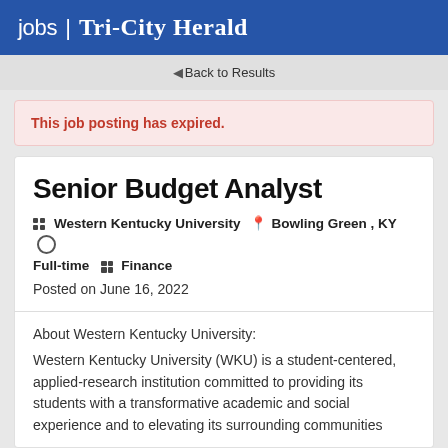jobs | Tri-City Herald
◄ Back to Results
This job posting has expired.
Senior Budget Analyst
Western Kentucky University  Bowling Green , KY  Full-time  Finance
Posted on June 16, 2022
About Western Kentucky University:
Western Kentucky University (WKU) is a student-centered, applied-research institution committed to providing its students with a transformative academic and social experience and to elevating its surrounding communities